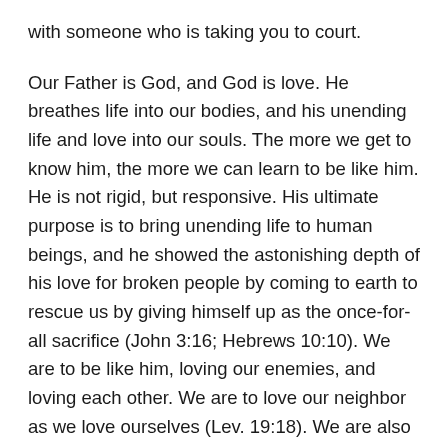with someone who is taking you to court.
Our Father is God, and God is love. He breathes life into our bodies, and his unending life and love into our souls. The more we get to know him, the more we can learn to be like him. He is not rigid, but responsive. His ultimate purpose is to bring unending life to human beings, and he showed the astonishing depth of his love for broken people by coming to earth to rescue us by giving himself up as the once-for-all sacrifice (John 3:16; Hebrews 10:10). We are to be like him, loving our enemies, and loving each other. We are to love our neighbor as we love ourselves (Lev. 19:18). We are also to love each other in the Family of God as he has loved us (John 15:12). In fact, all of the commands that God gave are summed up in this one command to live a life